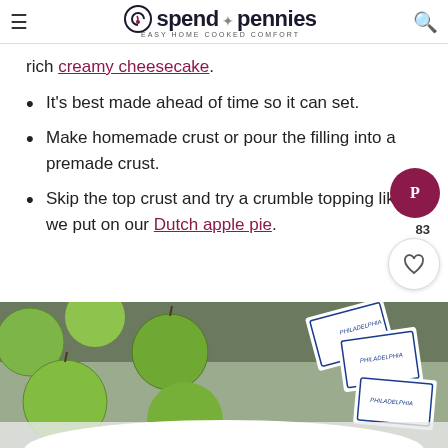spend with pennies — EASY HOME COOKED COMFORT
rich creamy cheesecake.
It's best made ahead of time so it can set.
Make homemade crust or pour the filling into a premade crust.
Skip the top crust and try a crumble topping like we put on our Dutch apple pie.
[Figure (photo): Green Granny Smith apples and Philadelphia cream cheese packages on a gray countertop, with a white bowl visible at the bottom edge.]